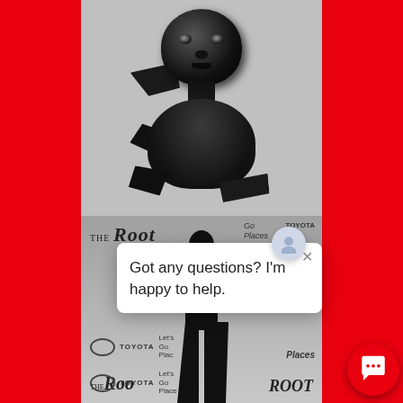[Figure (photo): Black sculptural figure with fragmented/glitched appearance, shown on white background with grayscale tones]
[Figure (photo): Black and white photo of a man in a suit standing in front of The Root / Toyota 'Let's Go Places' branded backdrop]
Got any questions? I'm happy to help.
[Figure (other): Chat bubble button icon in white on red circular background, bottom right corner]